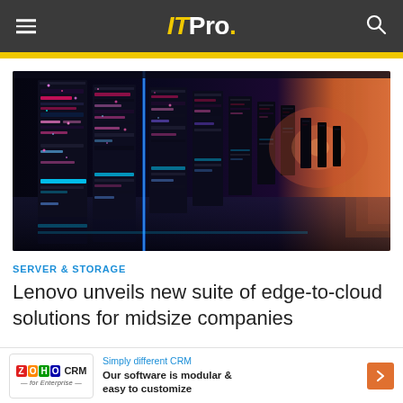ITPro.
[Figure (photo): Server rack data center corridor with colorful LED lighting — cyan, pink, purple — stretching into the distance with dramatic lighting and reflective floor]
SERVER & STORAGE
Lenovo unveils new suite of edge-to-cloud solutions for midsize companies
[Figure (other): Zoho CRM advertisement banner: 'Simply different CRM — Our software is modular & easy to customize']